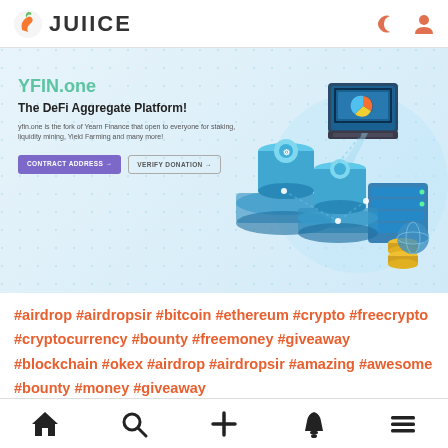JUIICE
[Figure (illustration): YFIN.one DeFi Aggregate Platform banner with isometric blockchain/server illustration, Contract Address and Verify Donation buttons]
#airdrop #airdropsir #bitcoin #ethereum #crypto #freecrypto #cryptocurrency #bounty #freemoney #giveaway #blockchain #okex #airdrop #airdropsir #amazing #awesome #bounty #money #giveaway
SOURCE: AIRLNK.IR
Home Search Add Notification Menu